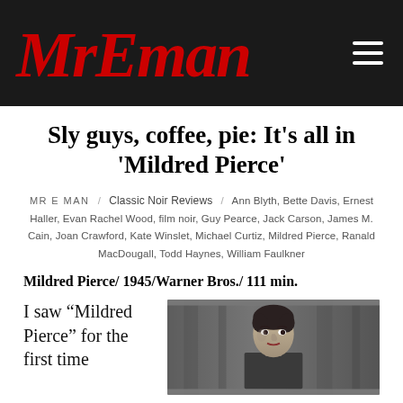MrEman
Sly guys, coffee, pie: It’s all in ‘Mildred Pierce’
MR E MAN / Classic Noir Reviews / Ann Blyth, Bette Davis, Ernest Haller, Evan Rachel Wood, film noir, Guy Pearce, Jack Carson, James M. Cain, Joan Crawford, Kate Winslet, Michael Curtiz, Mildred Pierce, Ranald MacDougall, Todd Haynes, William Faulkner
Mildred Pierce/ 1945/Warner Bros./ 111 min.
I saw “Mildred Pierce” for the first time
[Figure (photo): Black and white photograph of a woman (Joan Crawford) looking to the side]